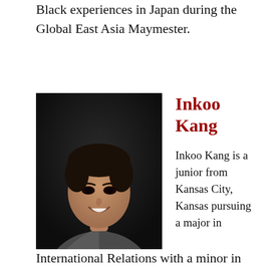Black experiences in Japan during the Global East Asia Maymester.
[Figure (photo): Professional headshot of Inkoo Kang, a young Asian man wearing a gray suit with a blue striped tie, smiling, against a dark background.]
Inkoo Kang
Inkoo Kang is a junior from Kansas City, Kansas pursuing a major in International Relations with a minor in Communication Policy and Law.  On campus, Inkoo is a member of USC's Air Force ROTC program, currently serving as its Physical